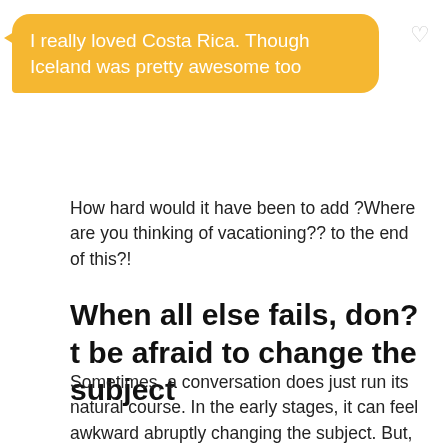[Figure (screenshot): Chat bubble with yellow/orange background containing text: 'I really loved Costa Rica. Though Iceland was pretty awesome too', with a heart icon to the right]
How hard would it have been to add ?Where are you thinking of vacationing?? to the end of this?!
When all else fails, don?t be afraid to change the subject
Sometimes, a conversation does just run its natural course. In the early stages, it can feel awkward abruptly changing the subject. But, sometimes this is just what you have to do. And hopefully you have swiped on someone with